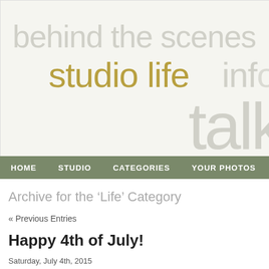[Figure (illustration): Blog header banner with overlapping decorative text words: 'behind the scenes', 'studio life', 'info', 'talk' in light gray and olive/gold colors on a light cream background]
HOME  STUDIO  CATEGORIES  YOUR PHOTOS
Archive for the 'Life' Category
« Previous Entries
Happy 4th of July!
Saturday, July 4th, 2015